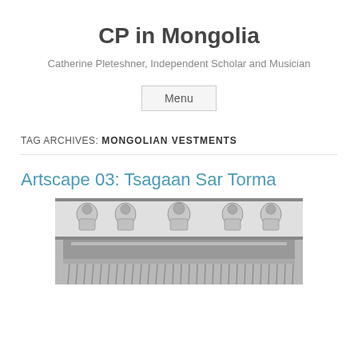CP in Mongolia
Catherine Pleteshner, Independent Scholar and Musician
Menu
TAG ARCHIVES: MONGOLIAN VESTMENTS
Artscape 03: Tsagaan Sar Torma
[Figure (photo): Black and white photograph of a Mongolian religious vestment or altar cloth featuring multiple deity figures arranged in a row across the top, with hanging decorative fringe below.]